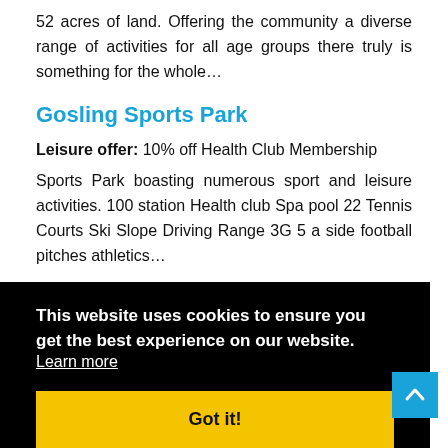52 acres of land. Offering the community a diverse range of activities for all age groups there truly is something for the whole…
Gosling Sports Park
Leisure offer: 10% off Health Club Membership
Sports Park boasting numerous sport and leisure activities. 100 station Health club Spa pool 22 Tennis Courts Ski Slope Driving Range 3G 5 a side football pitches athletics…
…uding a Pool ly
This website uses cookies to ensure you get the best experience on our website.
Learn more
Got it!
situated in picturesque Welwyn Garden City, Hertfordshire.